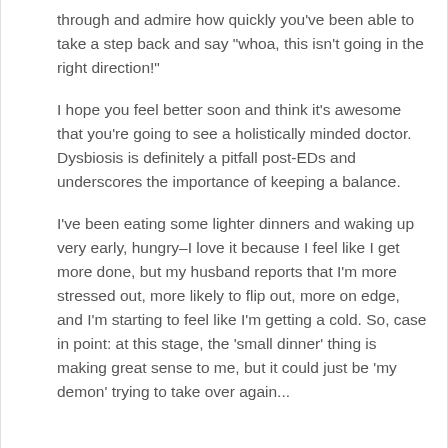through and admire how quickly you've been able to take a step back and say "whoa, this isn't going in the right direction!"
I hope you feel better soon and think it's awesome that you're going to see a holistically minded doctor. Dysbiosis is definitely a pitfall post-EDs and underscores the importance of keeping a balance.
I've been eating some lighter dinners and waking up very early, hungry–I love it because I feel like I get more done, but my husband reports that I'm more stressed out, more likely to flip out, more on edge, and I'm starting to feel like I'm getting a cold. So, case in point: at this stage, the 'small dinner' thing is making great sense to me, but it could just be 'my demon' trying to take over again...